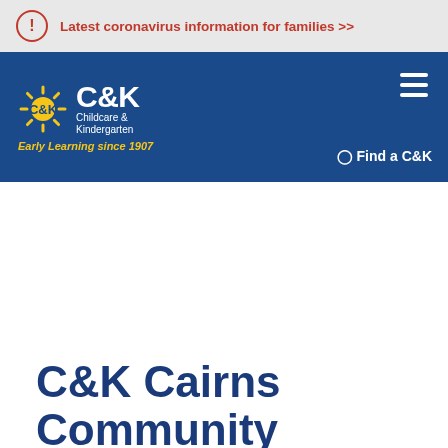Latest coronavirus information for families >>
[Figure (logo): C&K Childcare & Kindergarten logo with sun rays icon and tagline 'Early Learning since 1907']
C&K Cairns Community Kindergarten